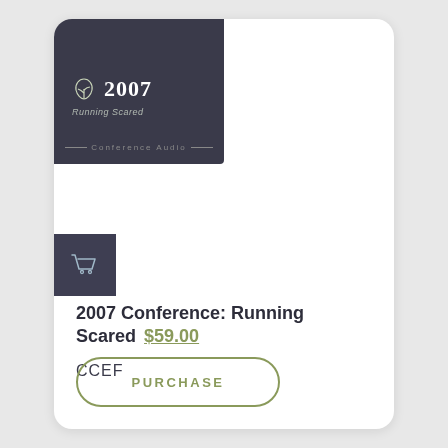[Figure (logo): Dark square logo block with leaf/plant icon and '2007' text, subtitle 'Running Scared', and 'Conference Audio' label at bottom]
[Figure (illustration): Shopping cart icon on dark purple-gray square background]
2007 Conference: Running Scared  $59.00
CCEF
PURCHASE